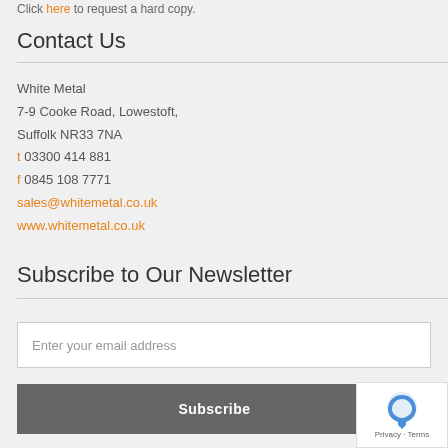Click here to request a hard copy.
Contact Us
White Metal
7-9 Cooke Road, Lowestoft,
Suffolk NR33 7NA
t 03300 414 881
f 0845 108 7771
sales@whitemetal.co.uk
www.whitemetal.co.uk
Subscribe to Our Newsletter
Enter your email address
Subscribe